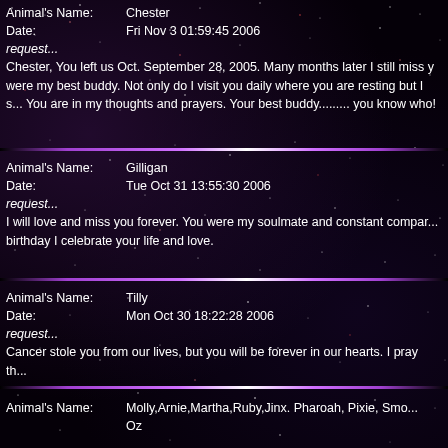Animal's Name: Chester
Date: Fri Nov 3 01:59:45 2006
request...
Chester, You left us Oct. September 28, 2005. Many months later I still miss you were my best buddy. Not only do I visit you daily where you are resting but I s... You are in my thoughts and prayers. Your best buddy......... you know who!
Animal's Name: Gilligan
Date: Tue Oct 31 13:55:30 2006
request...
I will love and miss you forever. You were my soulmate and constant compar... birthday I celebrate your life and love.
Animal's Name: Tilly
Date: Mon Oct 30 18:22:28 2006
request...
Cancer stole you from our lives, but you will be forever in our hearts. I pray th...
Animal's Name: Molly,Arnie,Martha,Ruby,Jinx. Pharoah, Pixie, Smo... Oz